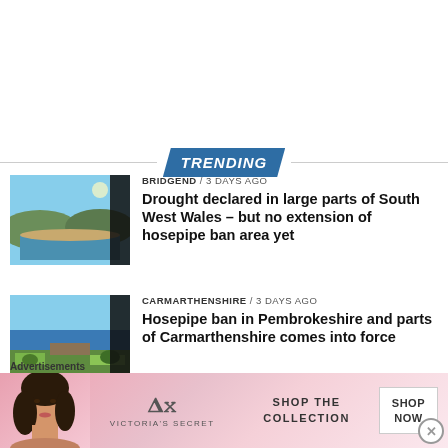TRENDING
[Figure (photo): Reservoir with low water levels, blue sky, hills in background]
BRIDGEND / 3 days ago
Drought declared in large parts of South West Wales – but no extension of hosepipe ban area yet
[Figure (photo): Aerial view of reservoir and green fields]
CARMARTHENSHIRE / 3 days ago
Hosepipe ban in Pembrokeshire and parts of Carmarthenshire comes into force
FOOTBALL / 5 days ago
Advertisements
[Figure (photo): Victoria's Secret advertisement banner — Shop the Collection, Shop Now]